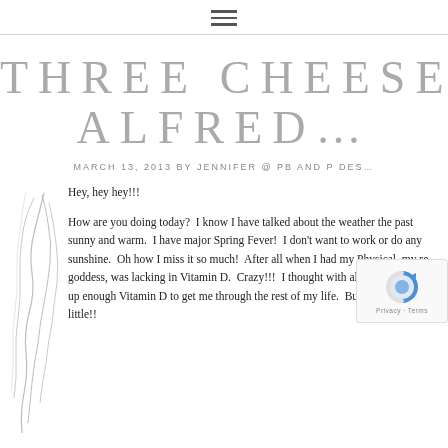☰ (hamburger menu icon)
THREE CHEESE ALFREDO
MARCH 13, 2013 BY JENNIFER @ PB AND P DES…
Hey, hey hey!!!
How are you doing today?  I know I have talked about the weather the past… sunny and warm.  I have major Spring Fever!  I don't want to work or do any… sunshine.  Oh how I miss it so much!  After all when I had my Physical, my re… goddess, was lacking in Vitamin D.  Crazy!!!  I thought with all the sun laying… up enough Vitamin D to get me through the rest of my life.  Bu… little!!